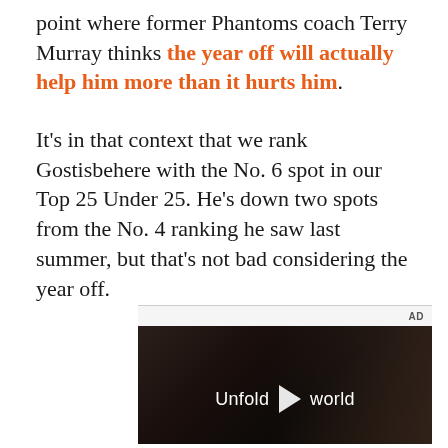point where former Phantoms coach Terry Murray thinks the year off will actually help him more than it hurts him.
It's in that context that we rank Gostisbehere with the No. 6 spot in our Top 25 Under 25. He's down two spots from the No. 4 ranking he saw last summer, but that's not bad considering the year off.
[Figure (other): Advertisement video player showing a dark cinematic scene with a person holding a phone, text 'Unfold your world' with a play button overlay. AD label in upper right.]